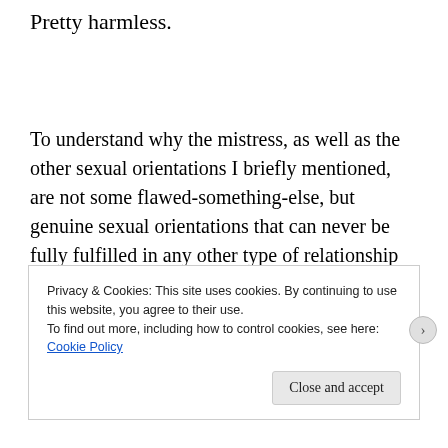Pretty harmless.
To understand why the mistress, as well as the other sexual orientations I briefly mentioned, are not some flawed-something-else, but genuine sexual orientations that can never be fully fulfilled in any other type of relationship form,  there are two aspects to sex and relationships that need to be understood
Privacy & Cookies: This site uses cookies. By continuing to use this website, you agree to their use.
To find out more, including how to control cookies, see here:
Cookie Policy
Close and accept